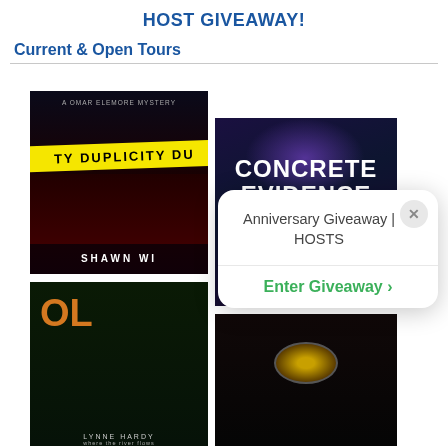HOST GIVEAWAY!
Current & Open Tours
[Figure (photo): Book cover for 'Duplicity' by Shawn Wi - dark thriller cover with US Capitol building at night, yellow crime scene tape with DUPLICITY text, red car blur on road]
[Figure (photo): Book cover for 'Concrete Evidence' - dark blue/purple atmospheric cover with large white bold text CONCRETE EVIDENCE]
[Figure (photo): Book cover starting with 'OL' (title partially visible) by Lynne Hardy - dark green forest face cover]
[Figure (photo): Dark book cover partially visible at bottom right - dark atmospheric cover with glowing eye]
Anniversary Giveaway | HOSTS
Enter Giveaway >